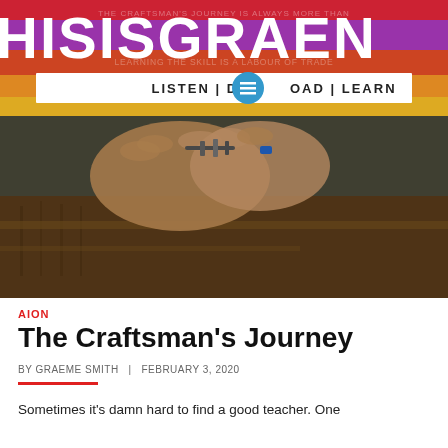[Figure (screenshot): Website header banner for 'hisisgraen' podcast/blog with text 'LISTEN | DOWNLOAD | LEARN' on a colorful gradient background with red, purple, orange, and yellow stripes. Background text reads 'THE CRAFTSMAN'S JOURNEY IS ALWAYS MORE THAN' and 'LEARNING THE SKILL IS A LABOUR OF TRADE'.]
[Figure (photo): Close-up photo of craftsman's hands working with tools, showing fingers manipulating a small object over a leather tool belt/bag with various tools visible.]
AION
The Craftsman's Journey
BY GRAEME SMITH  |  FEBRUARY 3, 2020
Sometimes it's damn hard to find a good teacher. One